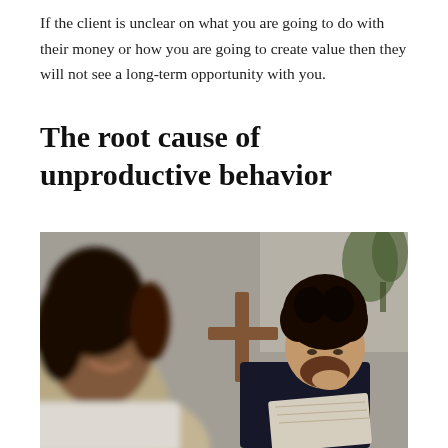If the client is unclear on what you are going to do with their money or how you are going to create value then they will not see a long-term opportunity with you.
The root cause of unproductive behavior
[Figure (photo): A blurred foreground woman in a beige top smiling, with a man with curly dark hair and beard looking down at papers in the background, and a plant visible in the top right corner. Indoor setting with a wooden cross visible behind the man.]